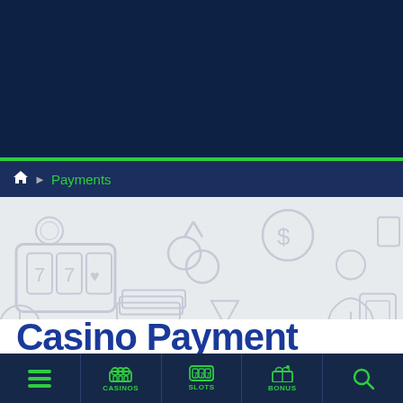Home › Payments
[Figure (illustration): Casino-themed background illustration with light gray icons: slot machine with 7s, cherries, playing cards, casino chips, dollar coin, dealer/croupier figure, cocktail glass, stack of cash, piano, alarm clock, slot machine cabinet]
Casino Payment
≡ | CASINOS | SLOTS | BONUS | 🔍